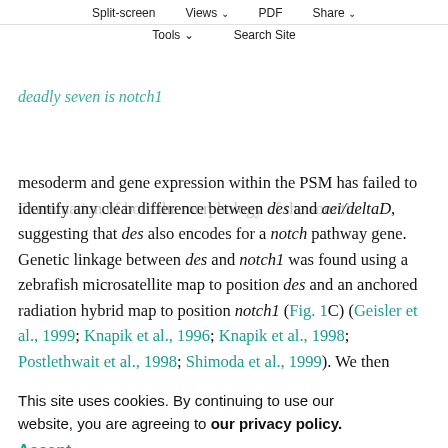RESULTS
Split-screen   Views   PDF   Share
deadly seven is notch1
Tools   Search Site
Examination of both the morphology of the somitic mesoderm and gene expression within the PSM has failed to identify any clear difference between des and aei/deltaD, suggesting that des also encodes for a notch pathway gene. Genetic linkage between des and notch1 was found using a zebrafish microsatellite map to position des and an anchored radiation hybrid map to position notch1 (Fig. 1C)(Geisler et al., 1999; Knapik et al., 1996; Knapik et al., 1998; Postlethwait et al., 1998; Shimoda et al., 1999). We then
sequenced the notch1-coding region from four alleles of des and found premature stop codons in two alleles and amino acid substitutions in the other two alleles (Fig. 1D).
This site uses cookies. By continuing to use our website, you are agreeing to our privacy policy. Accept